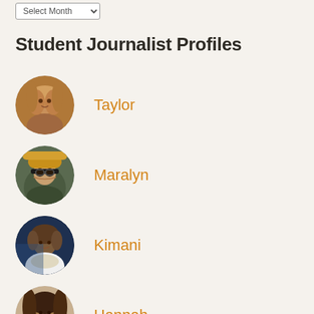Select Month
Student Journalist Profiles
Taylor
Maralyn
Kimani
Hannah